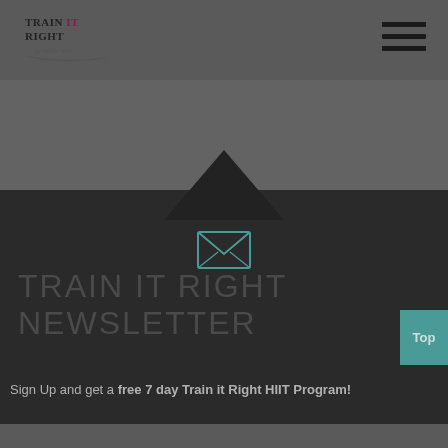Train It Right by Alicia Bell
[Figure (logo): Train IT Right by Alicia Bell logo in top left header]
[Figure (illustration): Hamburger menu icon (three horizontal lines) in top right]
[Figure (illustration): Dark upward-pointing triangle with open envelope icon below it, transitioning from grey banner to dark section]
TRAIN IT RIGHT NEWSLETTER
Sign Up and get a free 7 day Train it Right HIIT Program!